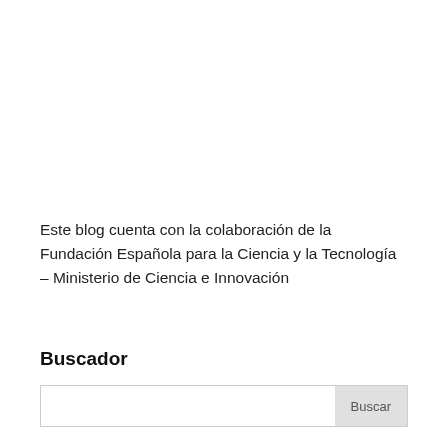Este blog cuenta con la colaboración de la Fundación Española para la Ciencia y la Tecnología – Ministerio de Ciencia e Innovación
Buscador